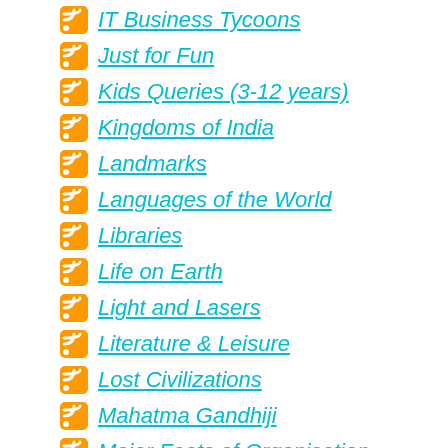IT Business Tycoons
Just for Fun
Kids Queries (3-12 years)
Kingdoms of India
Landmarks
Languages of the World
Libraries
Life on Earth
Light and Lasers
Literature & Leisure
Lost Civilizations
Mahatma Gandhiji
Major Feats of Organisation
Man and the Moon